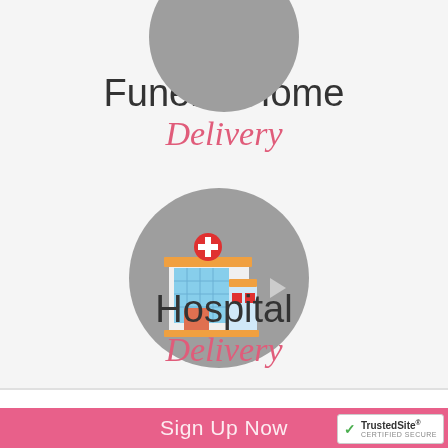[Figure (illustration): Gray circle with funeral home related illustration, partially cropped at top of page]
Funeral Home
Delivery
[Figure (illustration): Gray circle containing a flat-design hospital building icon with red cross, orange roof, blue and red facade]
Hospital
Delivery
Receive Special Offers
Sign Up Now
[Figure (logo): TrustedSite certified secure badge with green checkmark]